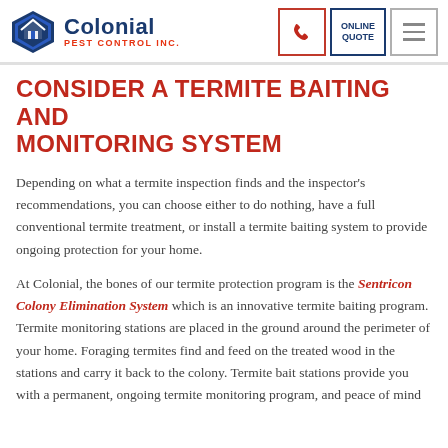Colonial Pest Control Inc. | Phone | Online Quote | Menu
CONSIDER A TERMITE BAITING AND MONITORING SYSTEM
Depending on what a termite inspection finds and the inspector's recommendations, you can choose either to do nothing, have a full conventional termite treatment, or install a termite baiting system to provide ongoing protection for your home.
At Colonial, the bones of our termite protection program is the Sentricon Colony Elimination System which is an innovative termite baiting program. Termite monitoring stations are placed in the ground around the perimeter of your home. Foraging termites find and feed on the treated wood in the stations and carry it back to the colony. Termite bait stations provide you with a permanent, ongoing termite monitoring program, and peace of mind